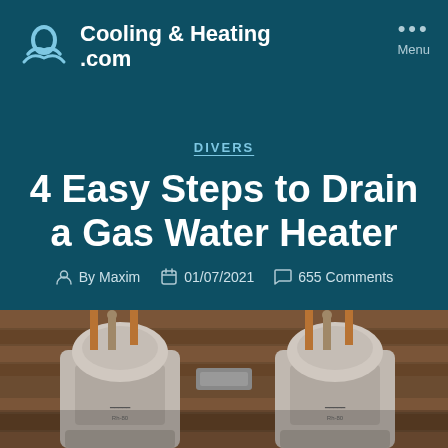Cooling & Heating .com
Menu
DIVERS
4 Easy Steps to Drain a Gas Water Heater
By Maxim   01/07/2021   655 Comments
[Figure (photo): Two gas water heaters side by side mounted against a wooden wall with copper pipes visible at the top]